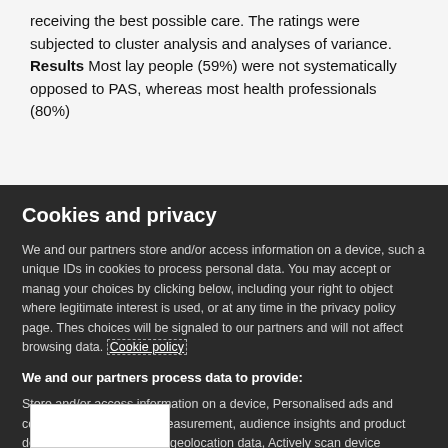receiving the best possible care. The ratings were subjected to cluster analysis and analyses of variance.
Results Most lay people (59%) were not systematically opposed to PAS, whereas most health professionals (80%)
Cookies and privacy
We and our partners store and/or access information on a device, such as unique IDs in cookies to process personal data. You may accept or manage your choices by clicking below, including your right to object where legitimate interest is used, or at any time in the privacy policy page. These choices will be signaled to our partners and will not affect browsing data. Cookie policy
We and our partners process data to provide:
Store and/or access information on a device, Personalised ads and content, ad and content measurement, audience insights and product development, Use precise geolocation data, Actively scan device characteristics for identification
List of Partners (vendors)
[Figure (other): White box with partial logo/text visible at the bottom of the page]